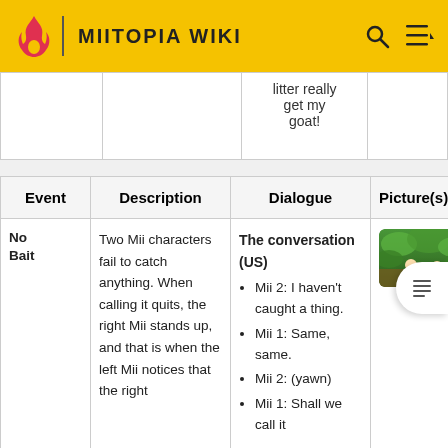MIITOPIA WIKI
| Event | Description | Dialogue | Picture(s) |
| --- | --- | --- | --- |
| No Bait | Two Mii characters fail to catch anything. When calling it quits, the right Mii stands up, and that is when the left Mii notices that the right Mii | The conversation (US)
• Mii 2: I haven't caught a thing.
• Mii 1: Same, same.
• Mii 2: (yawn)
• Mii 1: Shall we call it | [image] |